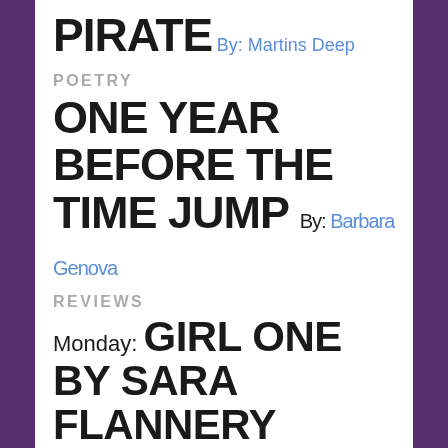PIRATE By: Martins Deep
POETRY
ONE YEAR BEFORE THE TIME JUMP By: Barbara Genova
REVIEWS
Monday: GIRL ONE BY SARA FLANNERY MURPHY By: Debbie Gascoyne,
Wednesday: KINDERKRANKENHAUS BY JESI BENDER